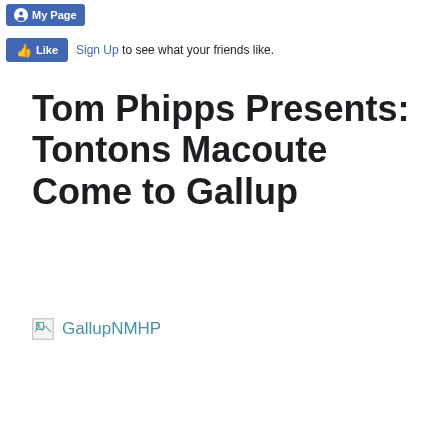My Page
Like  Sign Up to see what your friends like.
Tom Phipps Presents: Tontons Macoute Come to Gallup
[Figure (other): Broken image placeholder with link text 'GallupNMHP']